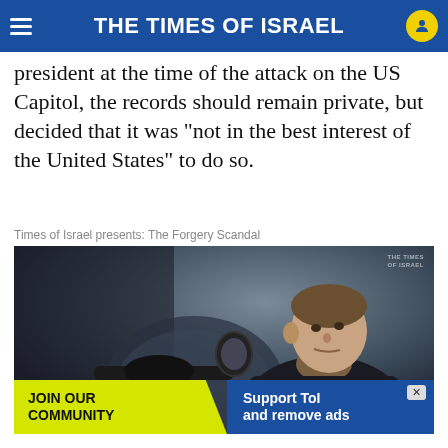THE TIMES OF ISRAEL
president at the time of the attack on the US Capitol, the records should remain private, but decided that it was “not in the best interest of the United States” to do so.
Times of Israel presents: The Forgery Scandal
[Figure (photo): Video thumbnail showing a man on a motorcycle wearing a black jacket and neck gaiter, with a BMW motorcycle emblem visible. Times of Israel watermark in top right corner. Play button visible at bottom left.]
JOIN OUR COMMUNITY
Support ToI and remove ads